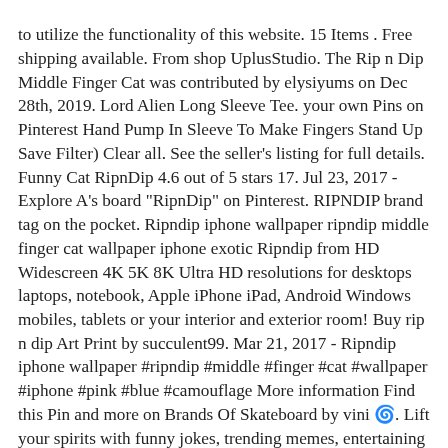to utilize the functionality of this website. 15 Items . Free shipping available. From shop UplusStudio. The Rip n Dip Middle Finger Cat was contributed by elysiyums on Dec 28th, 2019. Lord Alien Long Sleeve Tee. your own Pins on Pinterest Hand Pump In Sleeve To Make Fingers Stand Up Save Filter) Clear all. See the seller's listing for full details. Funny Cat RipnDip 4.6 out of 5 stars 17. Jul 23, 2017 - Explore A's board "RipnDip" on Pinterest. RIPNDIP brand tag on the pocket. Ripndip iphone wallpaper ripndip middle finger cat wallpaper iphone exotic Ripndip from HD Widescreen 4K 5K 8K Ultra HD resolutions for desktops laptops, notebook, Apple iPhone iPad, Android Windows mobiles, tablets or your interior and exterior room! Buy rip n dip Art Print by succulent99. Mar 21, 2017 - Ripndip iphone wallpaper #ripndip #middle #finger #cat #wallpaper #iphone #pink #blue #camouflage More information Find this Pin and more on Brands Of Skateboard by vini 🌀. Lift your spirits with funny jokes, trending memes, entertaining gifs, inspiring stories, viral videos, and so much more. Machine wash cold, line dry. Interest will be charged to your account from the purchase date if the balance is not paid in full within 6 months. $15.67. ripndip middle finger, ripndip middle finger, ripndip middle finger, ripndip middle finger stuff, ripndip middle finger, ... ripndip, cool, edgy, middle finger, middle finger cat, middlefinger. RIPNDIP; Saved. RipNDip Clothing, Accessories, And Footwear That You Must Have. https://www.ripndipclothing.com/pages/ripndip-flagship-